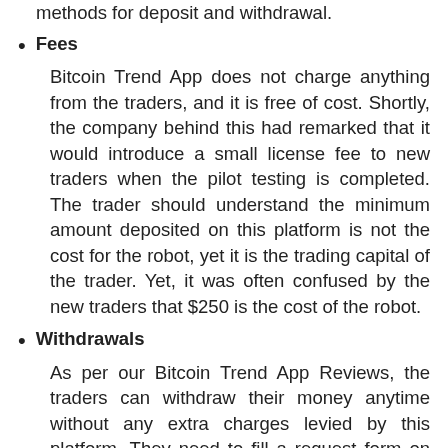methods for deposit and withdrawal.
Fees
Bitcoin Trend App does not charge anything from the traders, and it is free of cost. Shortly, the company behind this had remarked that it would introduce a small license fee to new traders when the pilot testing is completed. The trader should understand the minimum amount deposited on this platform is not the cost for the robot, yet it is the trading capital of the trader. Yet, it was often confused by the new traders that $250 is the cost of the robot.
Withdrawals
As per our Bitcoin Trend App Reviews, the traders can withdraw their money anytime without any extra charges levied by this platform. They need to fill a request form on the